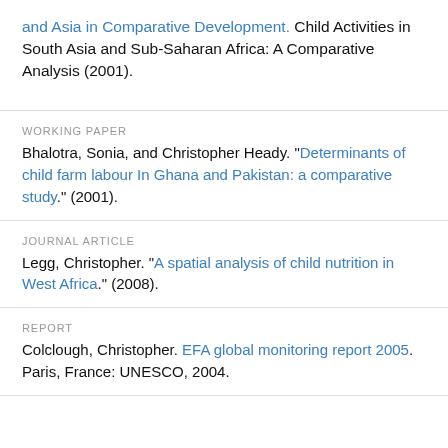and Asia in Comparative Development. Child Activities in South Asia and Sub-Saharan Africa: A Comparative Analysis (2001).
WORKING PAPER
Bhalotra, Sonia, and Christopher Heady. "Determinants of child farm labour In Ghana and Pakistan: a comparative study." (2001).
JOURNAL ARTICLE
Legg, Christopher. "A spatial analysis of child nutrition in West Africa." (2008).
REPORT
Colclough, Christopher. EFA global monitoring report 2005. Paris, France: UNESCO, 2004.